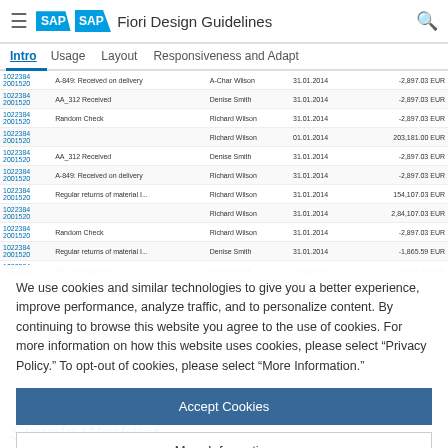SAP Fiori Design Guidelines
Intro | Usage | Layout | Responsiveness and Adapt
| ID | Description | Person | Date | Amount |
| --- | --- | --- | --- | --- |
| 1022384 2001520 | A-849: Received on delivery | A-Char Wilson | 31.01.2014 | -2,897.03 EUR |
| 1022384 2001520 | AA_312 Received | Denise Smith | 31.01.2014 | -2,897.03 EUR |
| 1022384 2001520 | Random Check | Richard Wilson | 31.01.2014 | -2,897.03 EUR |
| 1022384 2001520 |  | Richard Wilson | 01.01.2014 | 203,181.00 EUR |
| 1022384 2001520 | AA_312 Received | Denise Smith | 31.01.2014 | -2,897.03 EUR |
| 1022384 2001520 | A-849: Received on delivery | Richard Wilson | 31.01.2014 | -2,897.03 EUR |
| 1022384 2001520 | Regular returns of material I... | Richard Wilson | 31.01.2014 | 154,107.03 EUR |
| 1022384 2001520 |  | Richard Wilson | 31.01.2014 | 2,84,107.03 EUR |
| 1022384 2001520 | Random Check | Richard Wilson | 31.01.2014 | -2,897.03 EUR |
| 1022384 2001520 | Regular returns of material I... | Denise Smith | 31.01.2014 | -1,865.59 EUR |
| 1022384 2001520 | AA_312 Received | Denise Smith | 31.01.2014 | -2,857.03 EUR |
We use cookies and similar technologies to give you a better experience, improve performance, analyze traffic, and to personalize content. By continuing to browse this website you agree to the use of cookies. For more information on how this website uses cookies, please select “Privacy Policy.” To opt-out of cookies, please select “More Information.”
Accept Cookies
More Information
Privacy Policy | Powered by: TrustArc
Simple Worklist